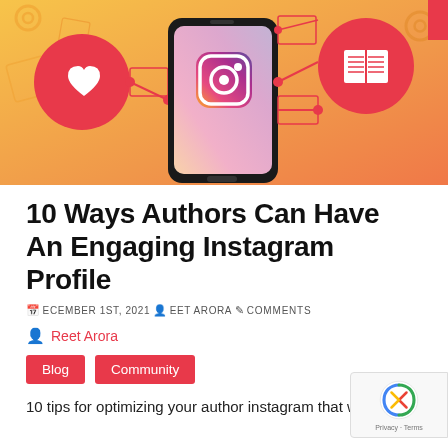[Figure (illustration): Orange/yellow gradient background illustration featuring a smartphone with the Instagram logo on its screen, connected via lines to social media icons including a heart/like button and a books/reading icon. Additional gear and settings icons visible in the corners. A red rectangle partially visible in top-right corner.]
10 Ways Authors Can Have An Engaging Instagram Profile
DECEMBER 1ST, 2021 REET ARORA COMMENTS
Reet Arora
Blog
Community
10 tips for optimizing your author instagram that will